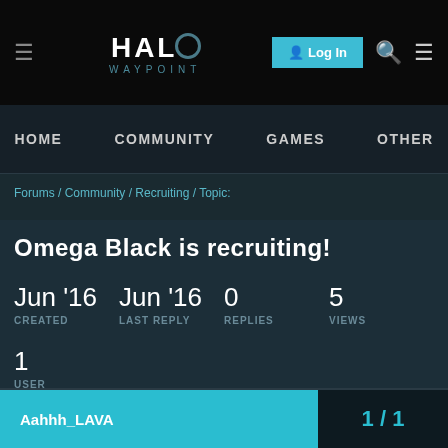Halo Waypoint — Log In
HOME   COMMUNITY   GAMES   OTHER
Forums / Community / Recruiting / Topic:
Omega Black is recruiting!
Jun '16 CREATED   Jun '16 LAST REPLY   0 REPLIES   5 VIEWS   1 USER
Aahhh_LAVA   1 / 1